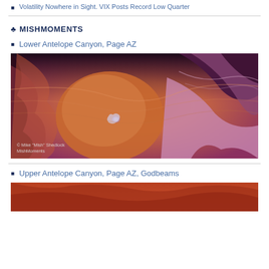Volatility Nowhere in Sight. VIX Posts Record Low Quarter
♣ MISHMOMENTS
Lower Antelope Canyon, Page AZ
[Figure (photo): Interior of Lower Antelope Canyon showing swirling red and pink sandstone slot canyon walls with a heart-shaped opening revealing light through the narrow passage. Photo credit: © Mike 'Mish' Shedlock MishMoments]
Upper Antelope Canyon, Page AZ, Godbeams
[Figure (photo): Partial view of Upper Antelope Canyon in warm red-orange tones, partially visible at bottom of page]